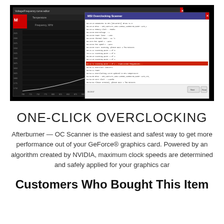[Figure (screenshot): MSI Afterburner Voltage/Frequency Curve Editor and OC Scanner dialog windows shown on black background. The curve editor shows a frequency vs voltage chart with an upward curve plotted. The OC Scanner window shows a log of overclocking scan progress and results.]
ONE-CLICK OVERCLOCKING
Afterburner — OC Scanner is the easiest and safest way to get more performance out of your GeForce® graphics card. Powered by an algorithm created by NVIDIA, maximum clock speeds are determined and safely applied for your graphics car
Customers Who Bought This Item